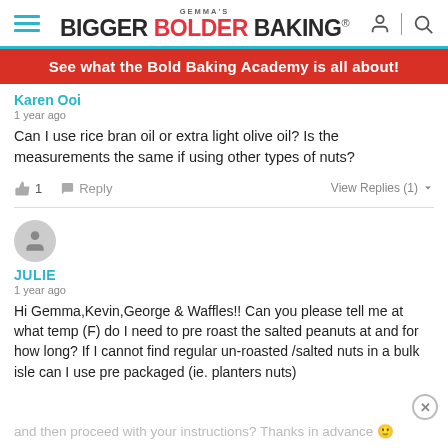GEMMA'S BIGGER BOLDER BAKING®
See what the Bold Baking Academy is all about!
Karen Ooi
1 year ago
Can I use rice bran oil or extra light olive oil? Is the measurements the same if using other types of nuts?
JULIE
1 year ago
Hi Gemma,Kevin,George & Waffles!! Can you please tell me at what temp (F) do I need to pre roast the salted peanuts at and for how long? If I cannot find regular un-roasted /salted nuts in a bulk isle can I use pre packaged (ie. planters nuts) and then proceed with your instructions? Thanks in advance 🙂